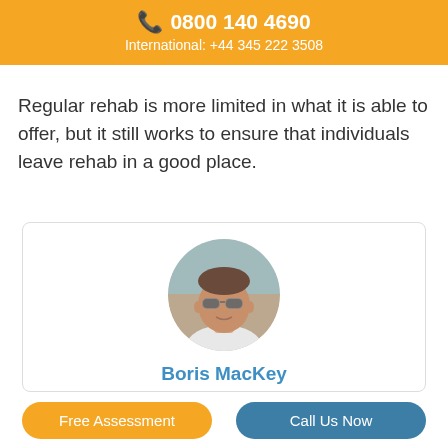📞 0800 140 4690
International: +44 345 222 3508
Regular rehab is more limited in what it is able to offer, but it still works to ensure that individuals leave rehab in a good place.
[Figure (photo): Circular profile photo of Boris MacKey, a man wearing sunglasses and a white shirt, outdoors.]
Boris MacKey
Boris is our editor-in-chief at Rehab 4 Addiction. Boris
Free Assessment    Call Us Now